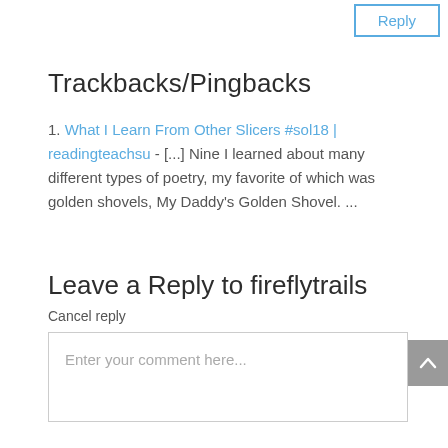Reply
Trackbacks/Pingbacks
1. What I Learn From Other Slicers #sol18 | readingteachsu - [...] Nine I learned about many different types of poetry, my favorite of which was golden shovels, My Daddy's Golden Shovel. ...
Leave a Reply to fireflytrails
Cancel reply
Enter your comment here...